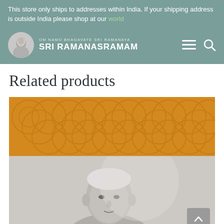This store only ships to addresses within India. If your shipping address is outside India please shop at our world
[Figure (screenshot): Sri Ramanasramam website header with logo showing Ramana Maharshi portrait in circular frame, site name 'SRI RAMANASRAMAM' with tagline 'OM NAMO BHAGAVATE SRI RAMANAYA', hamburger menu icon and search icon on the right, all on a teal/green background]
Related products
[Figure (photo): Product card showing an orange/amber decorative banner at top with abstract circular patterns, below which is a black and white photograph of Ramana Maharshi (elderly Indian sage) shown from chest up, looking slightly to the side]